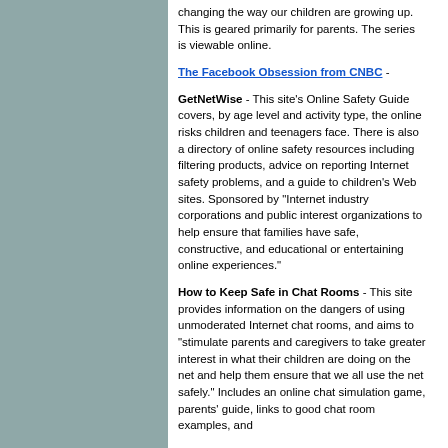changing the way our children are growing up. This is geared primarily for parents. The series is viewable online.
The Facebook Obsession from CNBC -
GetNetWise - This site's Online Safety Guide covers, by age level and activity type, the online risks children and teenagers face. There is also a directory of online safety resources including filtering products, advice on reporting Internet safety problems, and a guide to children's Web sites. Sponsored by "Internet industry corporations and public interest organizations to help ensure that families have safe, constructive, and educational or entertaining online experiences."
How to Keep Safe in Chat Rooms - This site provides information on the dangers of using unmoderated Internet chat rooms, and aims to "stimulate parents and caregivers to take greater interest in what their children are doing on the net and help them ensure that we all use the net safely." Includes an online chat simulation game, parents' guide, links to good chat room examples, and recommendations for keeping safe in online...